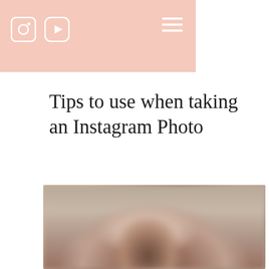Navigation header with Instagram and YouTube icons and hamburger menu
Tips to use when taking an Instagram Photo
[Figure (photo): A blurred photograph of a person, appears to be a woman with dark hair, outdoors with a blurred background]